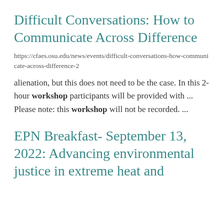Difficult Conversations: How to Communicate Across Difference
https://cfaes.osu.edu/news/events/difficult-conversations-how-communicate-across-difference-2
alienation, but this does not need to be the case. In this 2-hour workshop participants will be provided with ... Please note: this workshop will not be recorded. ...
EPN Breakfast- September 13, 2022: Advancing environmental justice in extreme heat and